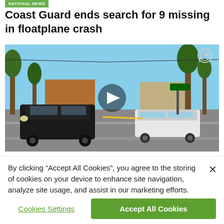NATIONAL NEWS
Coast Guard ends search for 9 missing in floatplane crash
[Figure (screenshot): Video thumbnail showing a street scene with police cars and emergency vehicles at an intersection, trees in background, blue sky. A play button overlay is in the center. A circular logo/watermark is visible in the top right corner.]
By clicking “Accept All Cookies”, you agree to the storing of cookies on your device to enhance site navigation, analyze site usage, and assist in our marketing efforts.
Cookies Settings
Accept All Cookies